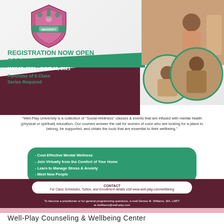[Figure (illustration): Well-Play University shield logo with pink and green design]
[Figure (photo): Photos of women in wellness/yoga/spa settings arranged in circles on the right side of the banner]
REGISTRATION NOW OPEN
SPRING/SUMMER COURSES
MAY 15, 2021 - JUNE 26, 2021
Purchase of 6 Class Series Required
"Well-Play University is a collection of "Social-Wellness" classes & events that are infused with mental health (physical or spiritual) education. Our courses answer the call for women of color who are looking for a place to belong, be supported, and obtain the tools that are essential to their wellbeing."
- Cost-Effective Mental Wellness
- Join Virtually from the Comfort of Your Home
- Learn to Manage Stress & Anxiety
- Meet New People
CONTACT
For Class Schedules, Tuition, and Enrollment details visit www.well-play.com/wellbeing
To become a practitioner or for general programming questions, e-mail Denise M. Williams, MA, LMFT at dwilliams@well-play.com
Well-Play Counseling & Wellbeing Center